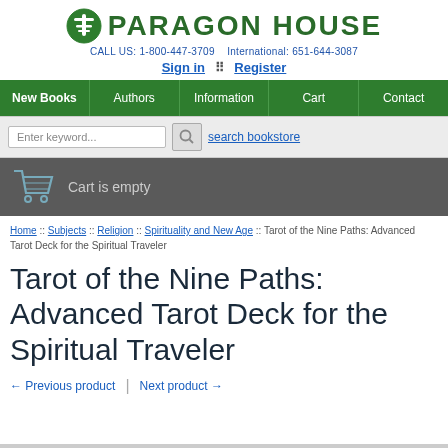Paragon House | CALL US: 1-800-447-3709 International: 651-644-3087 | Sign in | Register
New Books | Authors | Information | Cart | Contact
Enter keyword... search bookstore
Cart is empty
Home :: Subjects :: Religion :: Spirituality and New Age :: Tarot of the Nine Paths: Advanced Tarot Deck for the Spiritual Traveler
Tarot of the Nine Paths: Advanced Tarot Deck for the Spiritual Traveler
← Previous product | Next product →